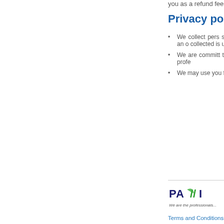you as a refund fee.
Privacy poli
We collect pers street addresses), p and modifies an o collected is used to a reservation confir
We are committ third parties, excep and obtaining profe
We may use you feedback or to prov
[Figure (logo): PAFFI logo with tagline 'We are the professionals...' and a second logo (partially visible)]
Terms and Conditions  Partnership | XML API